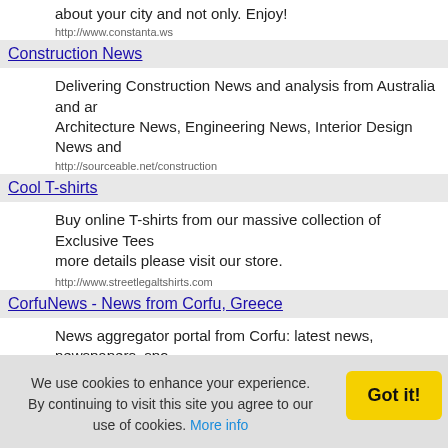about your city and not only. Enjoy!
http://www.constanta.ws
Construction News
Delivering Construction News and analysis from Australia and ar Architecture News, Engineering News, Interior Design News and
http://sourceable.net/construction
Cool T-shirts
Buy online T-shirts from our massive collection of Exclusive Tees more details please visit our store.
http://www.streetlegaltshirts.com
CorfuNews - News from Corfu, Greece
News aggregator portal from Corfu: latest news, newspapers, spo entertainment, games, radio & TV channels.
http://corfunews.org
Corporate Team Building
Raw Materials - The Studio developed by Leading Australian fo...
We use cookies to enhance your experience. By continuing to visit this site you agree to our use of cookies. More info